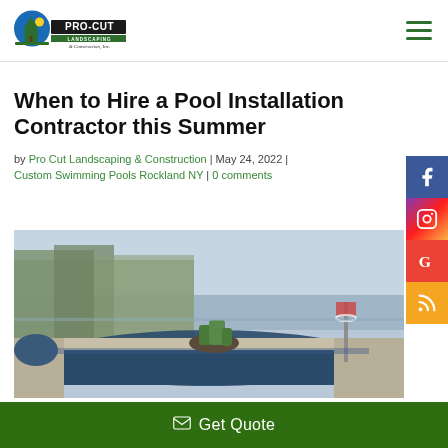Pro Cut Landscaping & Construction, Inc. — navigation header with logo and hamburger menu
When to Hire a Pool Installation Contractor this Summer
by Pro Cut Landscaping & Construction | May 24, 2022 | Custom Swimming Pools Rockland NY | 0 comments
[Figure (photo): Outdoor custom swimming pool with view of trees and water in the background, basketball hoop visible on the right side of the pool deck]
Get Quote